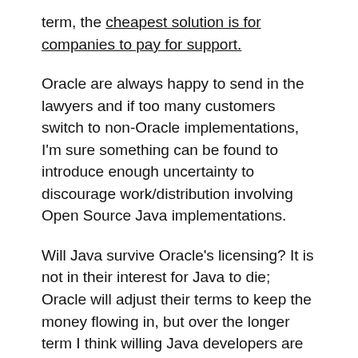term, the cheapest solution is for companies to pay for support.
Oracle are always happy to send in the lawyers and if too many customers switch to non-Oracle implementations, I'm sure something can be found to introduce enough uncertainty to discourage work/distribution involving Open Source Java implementations.
Will Java survive Oracle's licensing? It is not in their interest for Java to die; Oracle will adjust their terms to keep the money flowing in, but over the longer term I think willing Java developers are going to be hard to find.
Guido van Rossum recently removed himself from the post of Python's Benevolent Dictator For Life. One of the jobs of a benevolent dictator is maintaining some degree of language coherence, which involves preventing